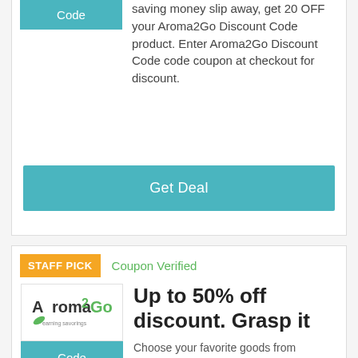saving money slip away, get 20 OFF your Aroma2Go Discount Code product. Enter Aroma2Go Discount Code code coupon at checkout for discount.
Get Deal
STAFF PICK
Coupon Verified
Up to 50% off discount. Grasp it
Code
Choose your favorite goods from Aroma2Go Discount Code and use Aroma2Go Discount Code discount code